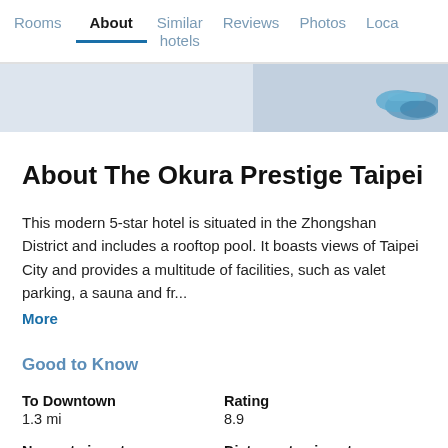Rooms | About | Similar hotels | Reviews | Photos | Loca...
[Figure (photo): Partial hotel image strip with blue/teal shoes visible on the right side]
About The Okura Prestige Taipei
This modern 5-star hotel is situated in the Zhongshan District and includes a rooftop pool. It boasts views of Taipei City and provides a multitude of facilities, such as valet parking, a sauna and fr...
More
Good to Know
To Downtown
1.3 mi
Rating
8.9
Nearest airport
Distance to airport